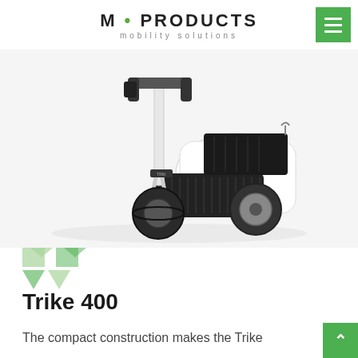M·PRODUCTS mobility solutions
[Figure (photo): Electric Trike 400 vehicle photographed from a 3/4 front angle, showing white body with black platform, handlebars, front single wheel, and two rear wheels]
[Figure (illustration): Green decorative arrow/chevron shapes in two rows]
Trike 400
The compact construction makes the Trike